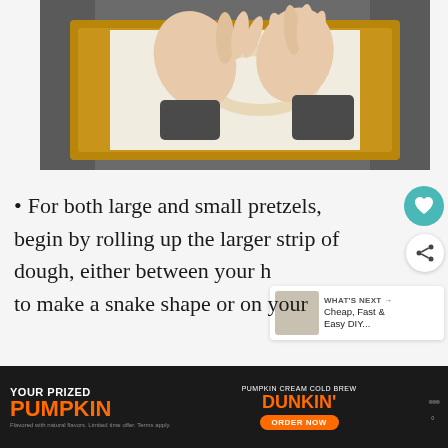[Figure (photo): Overhead view of hands shaping pretzel dough on a parchment-lined gold baking sheet on a granite countertop]
For both large and small pretzels, begin by rolling up the larger strip of dough, either between your hands to make a snake shape or on your
[Figure (other): Advertisement banner: YOUR PRIZED PUMPKIN – Dunkin' Pumpkin Cream Cold Brew – ORDER NOW]